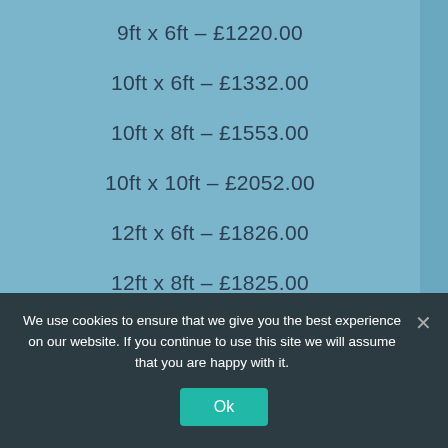9ft x 6ft – £1220.00
10ft x 6ft – £1332.00
10ft x 8ft – £1553.00
10ft x 10ft – £2052.00
12ft x 6ft – £1826.00
12ft x 8ft – £1825.00
12ft x 10ft – £2475.00
We use cookies to ensure that we give you the best experience on our website. If you continue to use this site we will assume that you are happy with it.